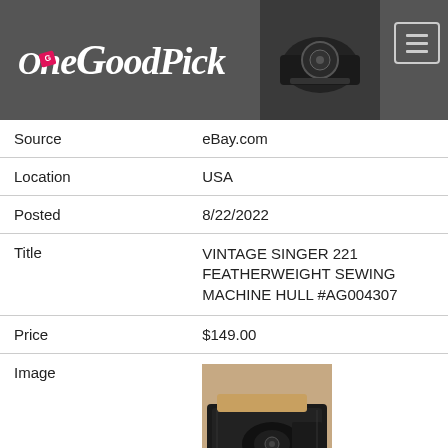[Figure (logo): One Good Pick logo with cursive white text on dark grey background, pink badge, and sewing machine thumbnail image with hamburger menu icon]
| Source | eBay.com |
| Location | USA |
| Posted | 8/22/2022 |
| Title | VINTAGE SINGER 221 FEATHERWEIGHT SEWING MACHINE HULL #AG004307 |
| Price | $149.00 |
| Image | [product image of vintage Singer sewing machine in case] |